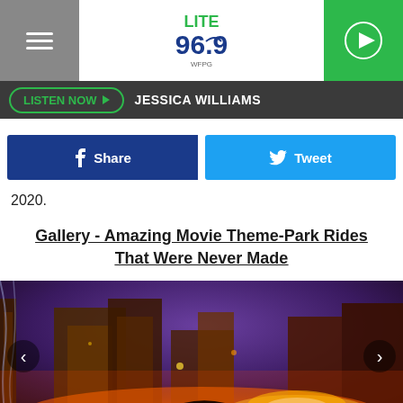[Figure (logo): Lite 96.9 WFPG radio station logo with play button and hamburger menu]
LISTEN NOW ▶  JESSICA WILLIAMS
Share   Tweet
2020.
Gallery - Amazing Movie Theme-Park Rides That Were Never Made
[Figure (illustration): Fantasy/sci-fi artwork showing an elaborate alien or futuristic city landscape with orange and purple tones, waterfalls, and intricate structures, used as a gallery slider image]